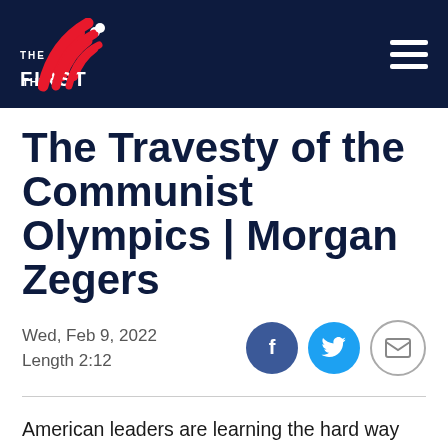THE FIRST
The Travesty of the Communist Olympics | Morgan Zegers
Wed, Feb 9, 2022
Length 2:12
American leaders are learning the hard way that letting a murderous, communist regime host the Olympics was a horrible idea, says Morgan Zegers.
"Our athletes are over in genocidal, communist